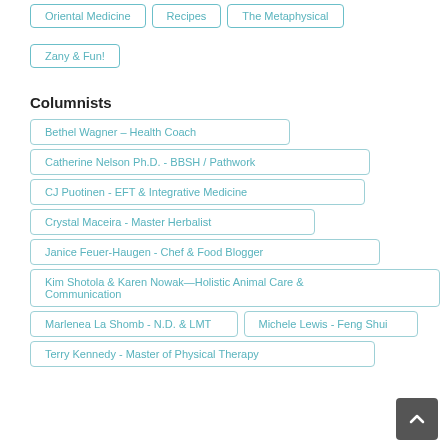Oriental Medicine
Recipes
The Metaphysical
Zany & Fun!
Columnists
Bethel Wagner – Health Coach
Catherine Nelson Ph.D. - BBSH / Pathwork
CJ Puotinen - EFT & Integrative Medicine
Crystal Maceira - Master Herbalist
Janice Feuer-Haugen - Chef & Food Blogger
Kim Shotola & Karen Nowak—Holistic Animal Care & Communication
Marlenea La Shomb - N.D. & LMT
Michele Lewis - Feng Shui
Terry Kennedy - Master of Physical Therapy